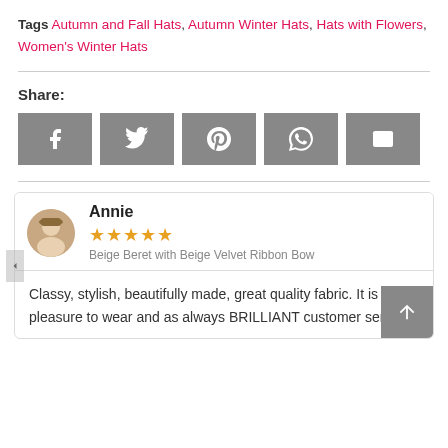Tags Autumn and Fall Hats, Autumn Winter Hats, Hats with Flowers, Women's Winter Hats
Share:
[Figure (infographic): Five social share buttons: Facebook, Twitter, Pinterest, WhatsApp, Email — all grey with white icons]
Annie — 5 stars — Beige Beret with Beige Velvet Ribbon Bow — Classy, stylish, beautifully made, great quality fabric. It is a pleasure to wear and as always BRILLIANT customer service.